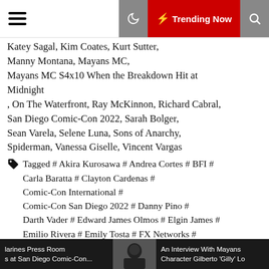Trending Now
Katey Sagal, Kim Coates, Kurt Sutter, Manny Montana, Mayans MC, Mayans MC S4x10 When the Breakdown Hit at Midnight, On The Waterfront, Ray McKinnon, Richard Cabral, San Diego Comic-Con 2022, Sarah Bolger, Sean Varela, Selene Luna, Sons of Anarchy, Spiderman, Vanessa Giselle, Vincent Vargas
Tagged # Akira Kurosawa # Andrea Cortes # BFI # Carla Baratta # Clayton Cardenas # Comic-Con International # Comic-Con San Diego 2022 # Danny Pino # Darth Vader # Edward James Olmos # Elgin James # Emilio Rivera # Emily Tosta # FX Networks # Gino Vento # Guillermo Garcia # Holland Roden # Jacob Vargas # Jasper Sharp # JD Pardo # Jimmy Gonzales # JR Bourne # Katey Sagal # Kim Coates # Kurt Sutter # Manny Montana #
larines Press Room s at San Diego Comic-Con... | An Interview With Mayans Character Gilberto 'Gilly' Lo